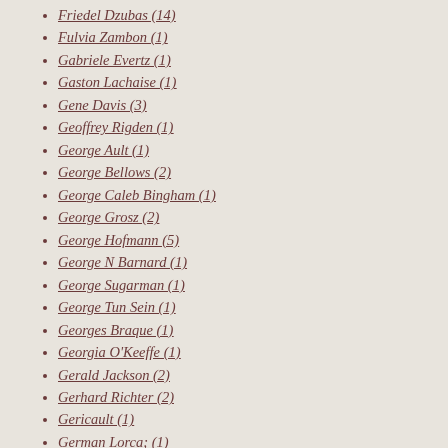Friedel Dzubas (14)
Fulvia Zambon (1)
Gabriele Evertz (1)
Gaston Lachaise (1)
Gene Davis (3)
Geoffrey Rigden (1)
George Ault (1)
George Bellows (2)
George Caleb Bingham (1)
George Grosz (2)
George Hofmann (5)
George N Barnard (1)
George Sugarman (1)
George Tun Sein (1)
Georges Braque (1)
Georgia O'Keeffe (1)
Gerald Jackson (2)
Gerhard Richter (2)
Gericault (1)
German Lorca; (1)
Gerome Kamrowski (1)
Giacometti (1)
Giacomo Balla (1)
Gina Medcalf (1)
Gino Severini (1)